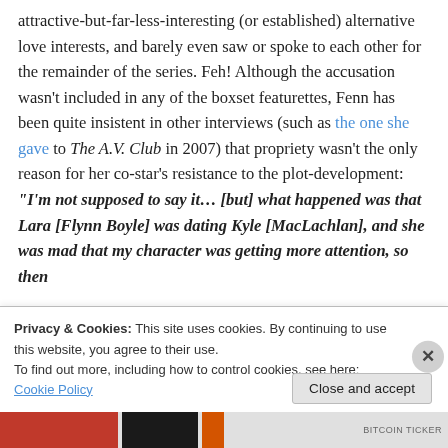attractive-but-far-less-interesting (or established) alternative love interests, and barely even saw or spoke to each other for the remainder of the series. Feh! Although the accusation wasn't included in any of the boxset featurettes, Fenn has been quite insistent in other interviews (such as the one she gave to The A.V. Club in 2007) that propriety wasn't the only reason for her co-star's resistance to the plot-development: "I'm not supposed to say it… [but] what happened was that Lara [Flynn Boyle] was dating Kyle [MacLachlan], and she was mad that my character was getting more attention, so then
Privacy & Cookies: This site uses cookies. By continuing to use this website, you agree to their use.
To find out more, including how to control cookies, see here: Cookie Policy
Close and accept